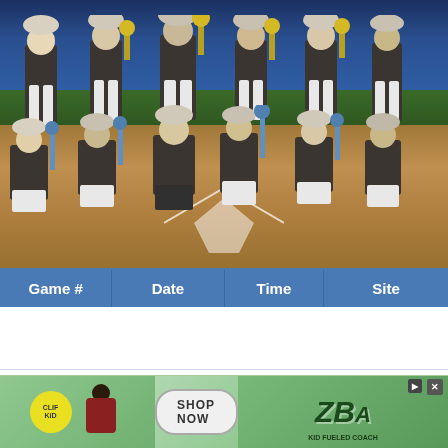[Figure (photo): Youth baseball team photo at night on a baseball diamond. Kids in dark gray uniforms holding trophies, posed in two rows — standing in back, kneeling in front. Blue outfield wall visible in background.]
| Game # | Date | Time | Site |
| --- | --- | --- | --- |
| 1 | 7/10/21 | 11 AM | Finkel Field |
[Figure (photo): Advertisement banner for CLIF Kid ZBar energy snack bars. Shows CLIF Kid logo on yellow badge, a child athlete, 'SHOP NOW' button, and ZBar product packaging with green theme.]